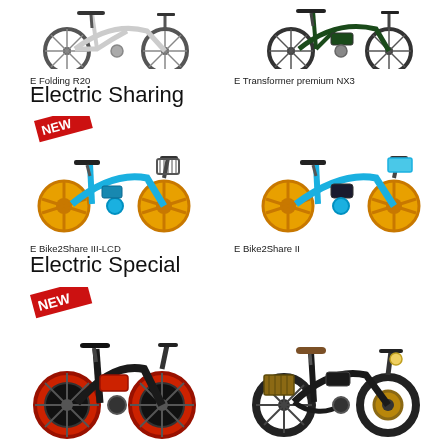[Figure (photo): E Folding R20 electric bike, white, top-left]
[Figure (photo): E Transformer premium NX3 electric bike, dark green, top-right]
E Folding R20
E Transformer premium NX3
Electric Sharing
[Figure (photo): E Bike2Share III-LCD sharing bike, blue with yellow wheels, NEW badge, left]
[Figure (photo): E Bike2Share II sharing bike, blue with yellow wheels, right]
E Bike2Share III-LCD
E Bike2Share II
Electric Special
[Figure (photo): Electric special fat-tire bike, black with red wheels, NEW badge, bottom-left]
[Figure (photo): Electric special retro-style bike, black with brown seat, basket, bottom-right]